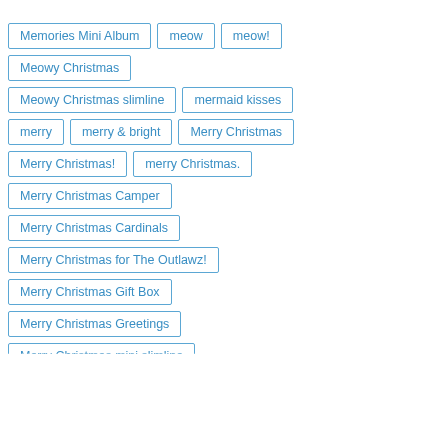Memories Mini Album
meow
meow!
Meowy Christmas
Meowy Christmas slimline
mermaid kisses
merry
merry & bright
Merry Christmas
Merry Christmas!
merry Christmas.
Merry Christmas Camper
Merry Christmas Cardinals
Merry Christmas for The Outlawz!
Merry Christmas Gift Box
Merry Christmas Greetings
Merry Christmas mini slimline